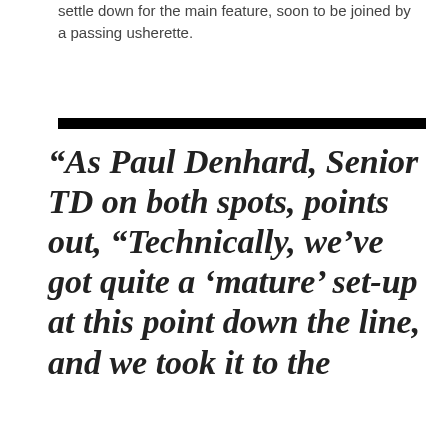settle down for the main feature, soon to be joined by a passing usherette.
“As Paul Denhard, Senior TD on both spots, points out, “Technically, we’ve got quite a ‘mature’ set-up at this point down the line, and we took it to the